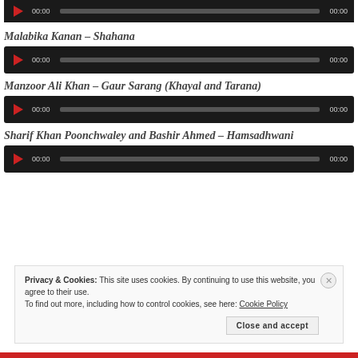[Figure (other): Audio player bar (top, partial) with play button and progress track showing 00:00 / 00:00]
Malabika Kanan – Shahana
[Figure (other): Audio player for Malabika Kanan – Shahana showing 00:00 / 00:00]
Manzoor Ali Khan – Gaur Sarang (Khayal and Tarana)
[Figure (other): Audio player for Manzoor Ali Khan – Gaur Sarang (Khayal and Tarana) showing 00:00 / 00:00]
Sharif Khan Poonchwaley and Bashir Ahmed – Hamsadhwani
[Figure (other): Audio player for Sharif Khan Poonchwaley and Bashir Ahmed – Hamsadhwani showing 00:00 / 00:00]
Privacy & Cookies: This site uses cookies. By continuing to use this website, you agree to their use.
To find out more, including how to control cookies, see here: Cookie Policy
Close and accept